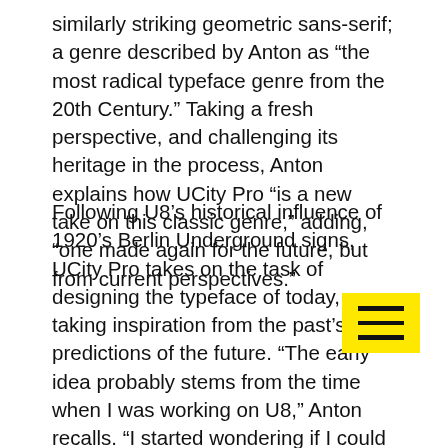similarly striking geometric sans-serif; a genre described by Anton as “the most radical typeface genre from the 20th Century.” Taking a fresh perspective, and challenging its heritage in the process, Anton explains how UCity Pro “is a new take on this classic genre,” adding, “one made again for the future, but from current perspectives.”
Following U8’s historical influence of 1920’s Berlin Underground signs, UCity Pro takes on the task of designing the typeface of today, taking inspiration from the past’s predictions of the future. “The early idea probably stems from the time when I was working on U8,” Anton recalls. “I started wondering if I could complement the typeface with a different character,” playing around with the concept for a considerable amount of time. “One day in 2017 I bumped into some pictures of the Lancia Stratos Zero,” Anton explains, a unique concept car designed by the famous designer Marcelo Gandi interestingly revealed in the same year that Herb and Tom Carnase released their ITC Avant Garde. “Somehow, with a few tense lines and abrupt angles, this
[Figure (other): Yellow square with hamburger menu icon (three horizontal black lines)]